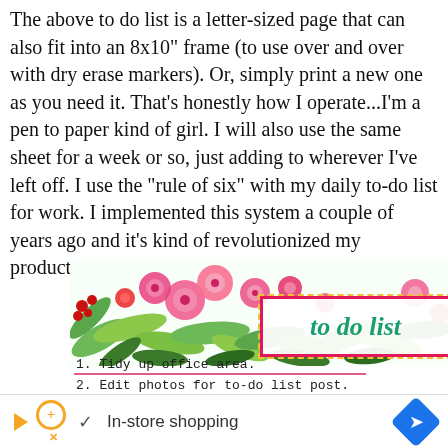The above to do list is a letter-sized page that can also fit into an 8x10" frame (to use over and over with dry erase markers). Or, simply print a new one as you need it. That's honestly how I operate...I'm a pen to paper kind of girl. I will also use the same sheet for a week or so, just adding to wherever I've left off. I use the "rule of six" with my daily to-do list for work. I implemented this system a couple of years ago and it's kind of revolutionized my productivity. You can read how it works below.
[Figure (illustration): A decorative to-do list preview with tropical floral banner at top (pink hibiscus, green leaves), a pink/yellow-bordered box with 'to do list' in green italic text, and two visible list items: '1. Tidy up office area.' and '2. Edit photos for to-do list post.' with pink underlines, plus a partial third item.]
[Figure (infographic): An advertisement bar at the bottom showing an orange triangle play icon, an orange circle with plus, a checkmark, 'In-store shopping' text, and a blue diamond navigation icon.]